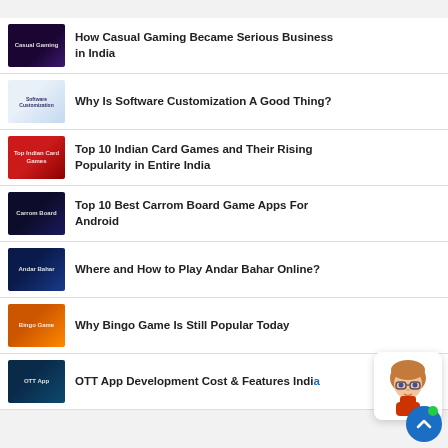How Casual Gaming Became Serious Business in India
Why Is Software Customization A Good Thing?
Top 10 Indian Card Games and Their Rising Popularity in Entire India
Top 10 Best Carrom Board Game Apps For Android
Where and How to Play Andar Bahar Online?
Why Bingo Game Is Still Popular Today
OTT App Development Cost & Features India